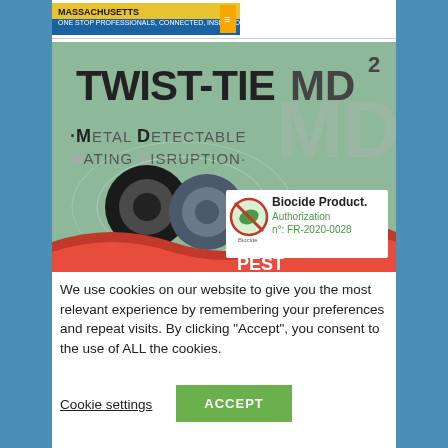[Figure (logo): Massachusetts logo / header banner with yellow and blue branding]
[Figure (illustration): TWIST-TIE MD2 product advertisement image on green background showing metal detectable mating disruption twist ties (coils), with Biocide Product Authorization n: FR-2020-0028 badge and red/white PEST logo at bottom]
We use cookies on our website to give you the most relevant experience by remembering your preferences and repeat visits. By clicking “Accept”, you consent to the use of ALL the cookies.
Cookie settings
ACCEPT